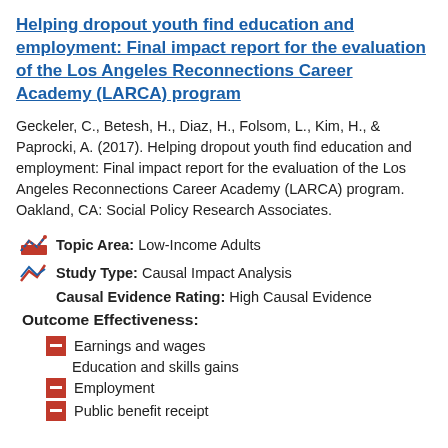Helping dropout youth find education and employment: Final impact report for the evaluation of the Los Angeles Reconnections Career Academy (LARCA) program
Geckeler, C., Betesh, H., Diaz, H., Folsom, L., Kim, H., & Paprocki, A. (2017). Helping dropout youth find education and employment: Final impact report for the evaluation of the Los Angeles Reconnections Career Academy (LARCA) program. Oakland, CA: Social Policy Research Associates.
Topic Area: Low-Income Adults
Study Type: Causal Impact Analysis
Causal Evidence Rating: High Causal Evidence
Outcome Effectiveness:
Earnings and wages
Education and skills gains
Employment
Public benefit receipt